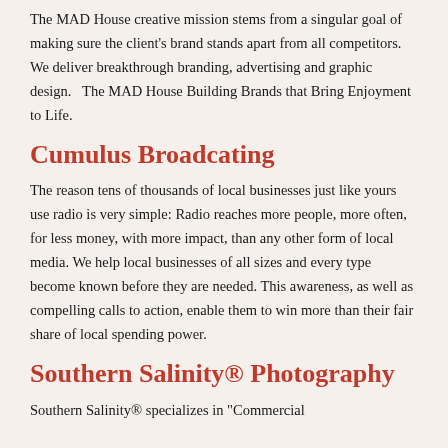The MAD House creative mission stems from a singular goal of making sure the client's brand stands apart from all competitors. We deliver breakthrough branding, advertising and graphic design.   The MAD House Building Brands that Bring Enjoyment to Life.
Cumulus Broadcating
The reason tens of thousands of local businesses just like yours use radio is very simple: Radio reaches more people, more often, for less money, with more impact, than any other form of local media. We help local businesses of all sizes and every type become known before they are needed. This awareness, as well as compelling calls to action, enable them to win more than their fair share of local spending power.
Southern Salinity® Photography
Southern Salinity® specializes in "Commercial...